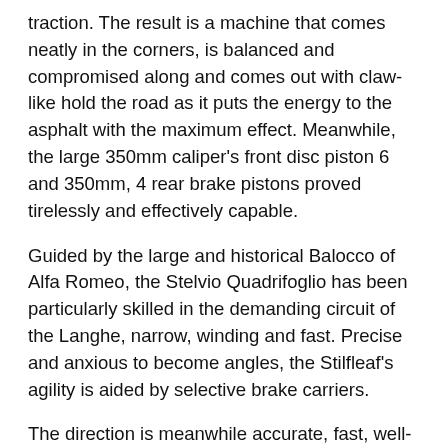traction. The result is a machine that comes neatly in the corners, is balanced and compromised along and comes out with claw-like hold the road as it puts the energy to the asphalt with the maximum effect. Meanwhile, the large 350mm caliper's front disc piston 6 and 350mm, 4 rear brake pistons proved tirelessly and effectively capable.
Guided by the large and historical Balocco of Alfa Romeo, the Stelvio Quadrifoglio has been particularly skilled in the demanding circuit of the Langhe, narrow, winding and fast. Precise and anxious to become angles, the Stilfleaf's agility is aided by selective brake carriers.
The direction is meanwhile accurate, fast, well-charged and communicative for an SUV, otherwise as a gradient sensation as the lightest, rear-driven Giulia Qudrifoglio Salon. Agile, tidy and buttoned through the Langhe, the Quadrifoglio could be led to kick its wide tail in Race mode.